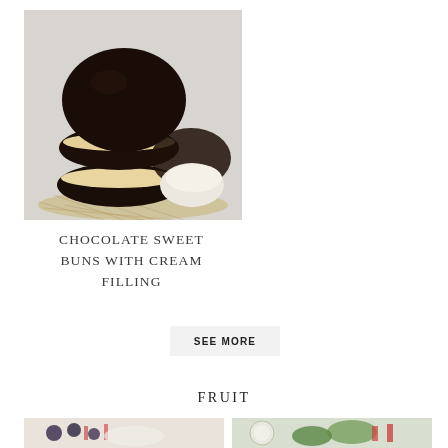[Figure (photo): Stacked chocolate-dipped sweet buns with cream filling on a decorative tray, styled food photography]
CHOCOLATE SWEET BUNS WITH CREAM FILLING
SEE MORE
FRUIT
[Figure (photo): Fruit dish with berries and cream, left side]
[Figure (photo): Fruit salad with melon and greens, right side]